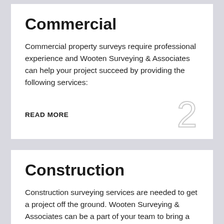Commercial
Commercial property surveys require professional experience and Wooten Surveying & Associates can help your project succeed by providing the following services:
READ MORE
Construction
Construction surveying services are needed to get a project off the ground. Wooten Surveying & Associates can be a part of your team to bring a project to life